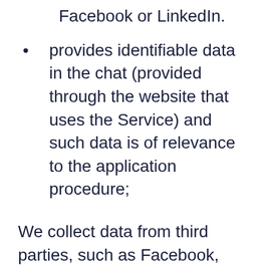Facebook or LinkedIn.
provides identifiable data in the chat (provided through the website that uses the Service) and such data is of relevance to the application procedure;
We collect data from third parties, such as Facebook, LinkedIn and through other public sources. This is referred to as “Sourcing” and be manually performed by our employees or automatically in the Service.
In some cases, existing employees can